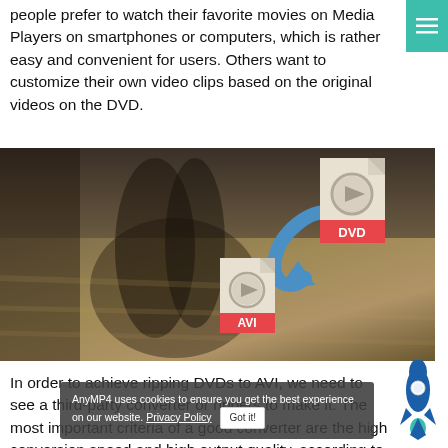people prefer to watch their favorite movies on Media Players on smartphones or computers, which is rather easy and convenient for users. Others want to customize their own video clips based on the original videos on the DVD.
[Figure (photo): A couple in outdoor field with DVD-to-AVI file conversion icons overlaid — a DVD file icon (top right) and AVI file icon (bottom center-right) with a blue arrow between them.]
In order to achieve ripping DVDs to AVI, we need to see a third-party converter or rippers to make it. The most important criteria of a good converter are the high conversion speed and high output quality, according to
AnyMP4 uses cookies to ensure you get the best experience on our website. Privacy Policy  Got it!